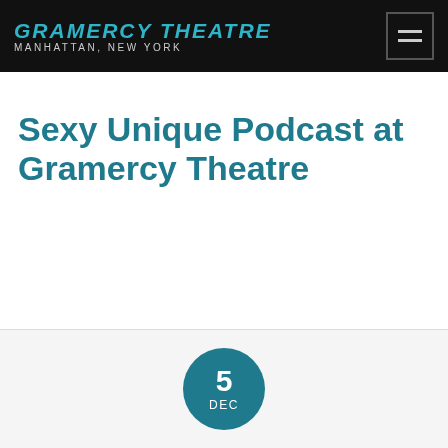GRAMERCY THEATRE MANHATTAN, NEW YORK
Sexy Unique Podcast at Gramercy Theatre
[Figure (other): Date badge circle showing '5 DEC' in teal on a light gray card section]